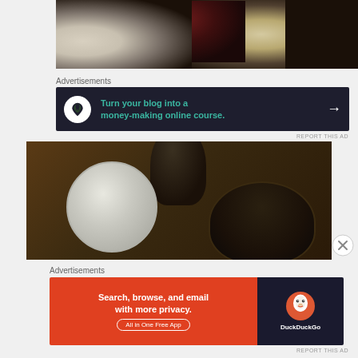[Figure (photo): Overhead view of Japanese food on a dark tray: bowl of rice, red lacquer bowl, and white plate with noodles and cucumber]
Advertisements
[Figure (infographic): Advertisement banner with dark navy background: bonsai tree icon in white circle, teal text 'Turn your blog into a money-making online course.' with white arrow]
REPORT THIS AD
[Figure (photo): Overhead view of Japanese food on wooden table: white cup with ice cream/wagashi and dark lacquer sake cup]
[Figure (logo): Close button X circle]
Advertisements
[Figure (infographic): DuckDuckGo advertisement: orange left section with 'Search, browse, and email with more privacy. All in One Free App' and dark right section with DuckDuckGo duck logo]
REPORT THIS AD